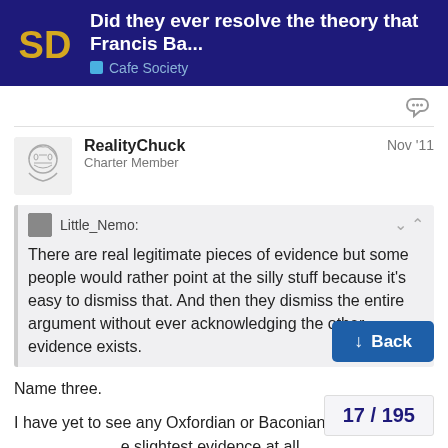Did they ever resolve the theory that Francis Ba... | Cafe Society
RealityChuck
Charter Member
Nov '11
Little_Nemo: There are real legitimate pieces of evidence but some people would rather point at the silly stuff because it's easy to dismiss that. And then they dismiss the entire argument without ever acknowledging the other evidence exists.
Name three.
I have yet to see any Oxfordian or Baconian to the slightest evidence at all.
So, do you have anyone who lived at the t
Back
17 / 195